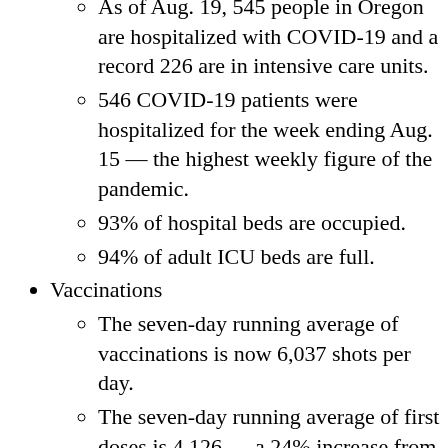As of Aug. 19, 545 people in Oregon are hospitalized with COVID-19 and a record 226 are in intensive care units.
546 COVID-19 patients were hospitalized for the week ending Aug. 15 — the highest weekly figure of the pandemic.
93% of hospital beds are occupied.
94% of adult ICU beds are full.
Vaccinations
The seven-day running average of vaccinations is now 6,037 shots per day.
The seven-day running average of first doses is 4,126 — a 24% increase from the end of July.
Cases
There were 12,741 COVID-19 cases reported for the week ending Aug. 14.